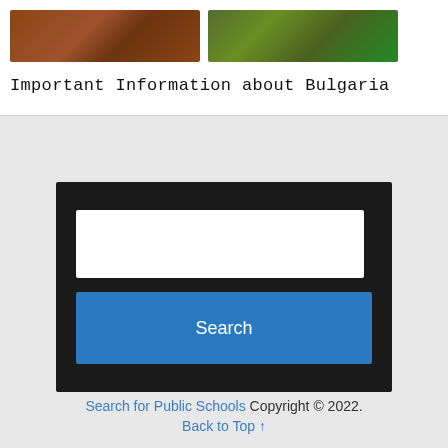[Figure (photo): Two partial photos side by side — left shows wooden/brick architecture, right shows green foliage near a building]
Important Information about Bulgaria
[Figure (screenshot): Search widget with a white text input box and a blue Search button, on a dark background]
Search for Public Schools Copyright © 2022. Back to Top ↑